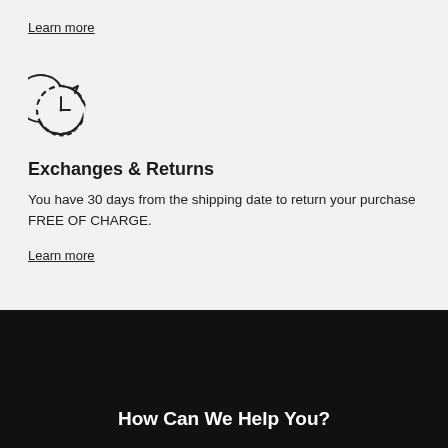Learn more
[Figure (illustration): Clock/refresh icon — a circular clock face with hands pointing roughly to 1 o'clock, with a curved arrow suggesting refresh or return, drawn in thin black lines on a light gray background.]
Exchanges & Returns
You have 30 days from the shipping date to return your purchase FREE OF CHARGE.
Learn more
How Can We Help You?